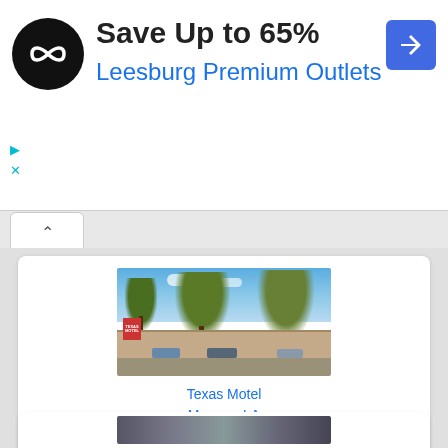[Figure (infographic): Advertisement banner: black circular logo with infinity-like symbol, text 'Save Up to 65%' in dark, 'Leesburg Premium Outlets' in blue, blue diamond navigation icon on right, play/close icons bottom-left]
Save Up to 65%
Leesburg Premium Outlets
[Figure (photo): Vintage photo of Texas Motel in Monroe, LA showing a low motel building with large trees in front, cars in parking lot, under blue sky]
Texas Motel
Monroe, LA
$14.95
[Figure (photo): Partial view of another listing card at the bottom of the page]